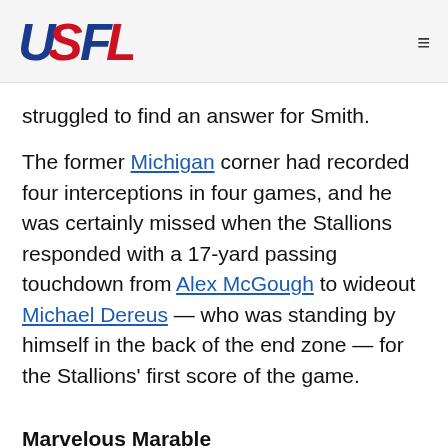USFL
struggled to find an answer for Smith.
The former Michigan corner had recorded four interceptions in four games, and he was certainly missed when the Stallions responded with a 17-yard passing touchdown from Alex McGough to wideout Michael Dereus — who was standing by himself in the back of the end zone — for the Stallions' first score of the game.
Marvelous Marable
The Stallions took advantage of a glaring